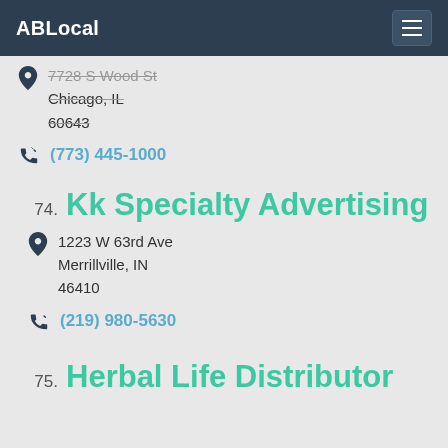ABLocal
7728 S Wood St
Chicago, IL
60643
(773) 445-1000
74. Kk Specialty Advertising
1223 W 63rd Ave
Merrillville, IN
46410
(219) 980-5630
75. Herbal Life Distributor